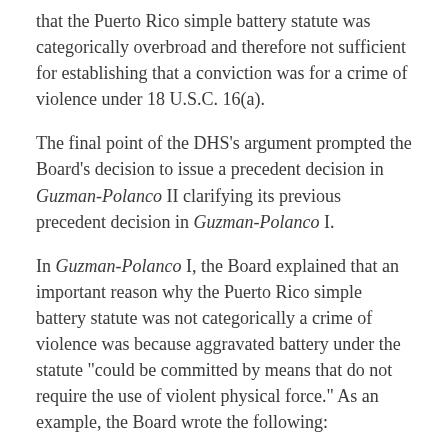that the Puerto Rico simple battery statute was categorically overbroad and therefore not sufficient for establishing that a conviction was for a crime of violence under 18 U.S.C. 16(a).
The final point of the DHS's argument prompted the Board's decision to issue a precedent decision in Guzman-Polanco II clarifying its previous precedent decision in Guzman-Polanco I.
In Guzman-Polanco I, the Board explained that an important reason why the Puerto Rico simple battery statute was not categorically a crime of violence was because aggravated battery under the statute "could be committed by means that do not require the use of violent physical force." As an example, the Board wrote the following:
For example, an offender could commit aggravated battery by injuring another person through the use of poison.